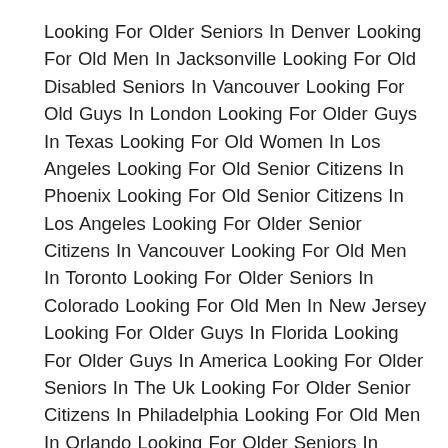Looking For Older Seniors In Denver Looking For Old Men In Jacksonville Looking For Old Disabled Seniors In Vancouver Looking For Old Guys In London Looking For Older Guys In Texas Looking For Old Women In Los Angeles Looking For Old Senior Citizens In Phoenix Looking For Old Senior Citizens In Los Angeles Looking For Older Senior Citizens In Vancouver Looking For Old Men In Toronto Looking For Older Seniors In Colorado Looking For Old Men In New Jersey Looking For Older Guys In Florida Looking For Older Guys In America Looking For Older Seniors In The Uk Looking For Older Senior Citizens In Philadelphia Looking For Old Men In Orlando Looking For Older Seniors In London Looking For Older Senior Citizens In Los Angeles Looking For Older Seniors In Denver Looking For Older People In New York Looking For Old Seniors In Houston Looking For